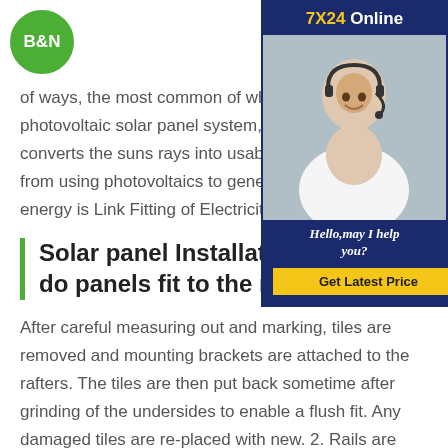B&N logo and navigation
of ways, the most common of which is photovoltaic solar panel system, or PV converts the suns rays into usable elec from using photovoltaics to generate el energy is Link Fitting of Electricity Fittin
[Figure (photo): 7X24 Online customer service widget with a smiling woman wearing a headset. Shows 'Hello, may I help you?' text and a 'Get Latest Price' button.]
Solar panel Installation pro do panels fit to the roof
After careful measuring out and marking, tiles are removed and mounting brackets are attached to the rafters. The tiles are then put back sometime after grinding of the undersides to enable a flush fit. Any damaged tiles are re-placed with new. 2. Rails are